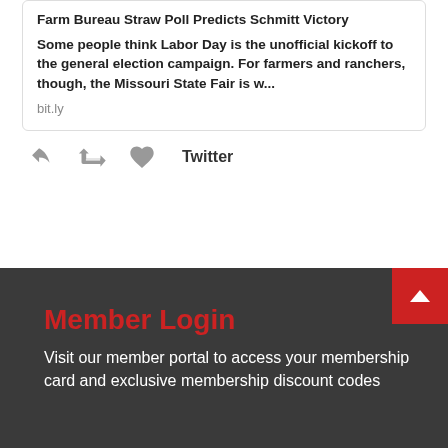Farm Bureau Straw Poll Predicts Schmitt Victory
Some people think Labor Day is the unofficial kickoff to the general election campaign. For farmers and ranchers, though, the Missouri State Fair is w...
bit.ly
[Figure (screenshot): Twitter action bar with reply, retweet, like icons and Twitter label]
Member Login
Visit our member portal to access your membership card and exclusive membership discount codes